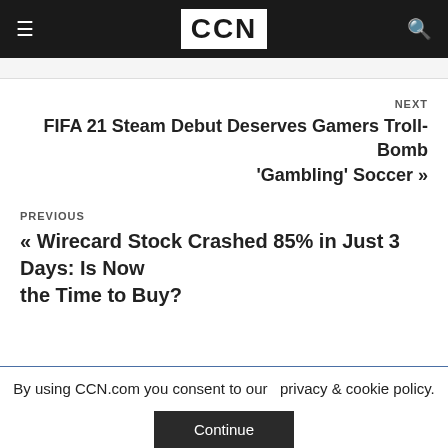CCN
NEXT
FIFA 21 Steam Debut Deserves Gamers Troll-Bomb 'Gambling' Soccer »
PREVIOUS
« Wirecard Stock Crashed 85% in Just 3 Days: Is Now the Time to Buy?
By using CCN.com you consent to our  privacy & cookie policy.
Continue